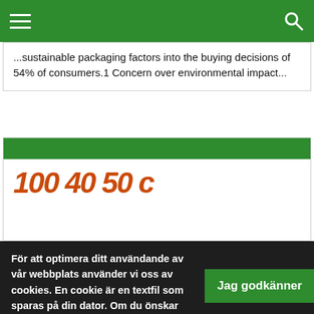Navigation bar with hamburger menu and search icon
sustainable packaging factors into the buying decisions of 54% of consumers.1 Concern over environmental impact...
[Figure (screenshot): Article card with green header bar and orange italic large text partially visible]
För att optimera ditt användande av vår webbplats använder vi oss av cookies. En cookie är en textfil som sparas på din dator. Om du önskar ytterligare information om vad en cookie är, vilka cookies vi använder, vad syftet med cookien är eller hur du kan blockera eller radera cookies, vänligen läs Om cookies.